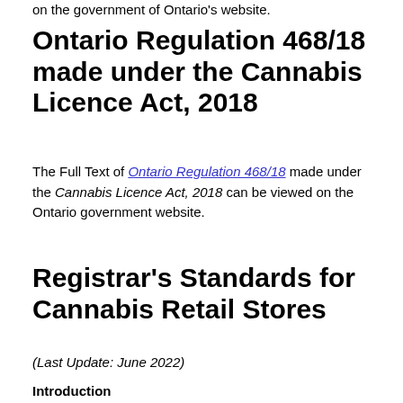on the government of Ontario's website.
Ontario Regulation 468/18 made under the Cannabis Licence Act, 2018
The Full Text of Ontario Regulation 468/18 made under the Cannabis Licence Act, 2018 can be viewed on the Ontario government website.
Registrar's Standards for Cannabis Retail Stores
(Last Update: June 2022)
Introduction